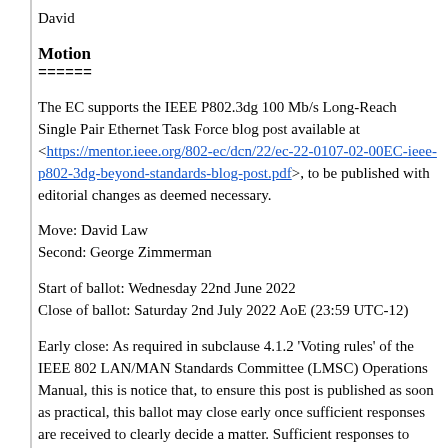David
Motion
======
The EC supports the IEEE P802.3dg 100 Mb/s Long-Reach Single Pair Ethernet Task Force blog post available at <https://mentor.ieee.org/802-ec/dcn/22/ec-22-0107-02-00EC-ieee-p802-3dg-beyond-standards-blog-post.pdf>, to be published with editorial changes as deemed necessary.
Move: David Law
Second: George Zimmerman
Start of ballot: Wednesday 22nd June 2022
Close of ballot: Saturday 2nd July 2022 AoE (23:59 UTC-12)
Early close: As required in subclause 4.1.2 'Voting rules' of the IEEE 802 LAN/MAN Standards Committee (LMSC) Operations Manual, this is notice that, to ensure this post is published as soon as practical, this ballot may close early once sufficient responses are received to clearly decide a matter. Sufficient responses to clearly decide this matter will be based on the required majority for a motion under subclause 7.1.1 'Actions